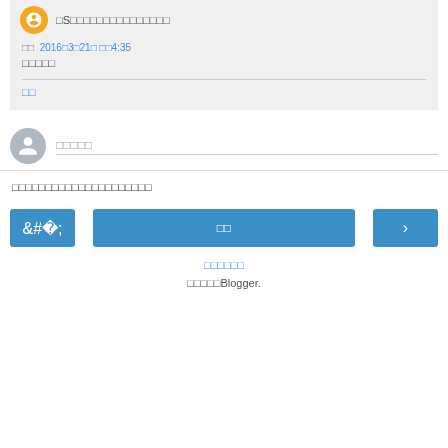□S□□□□□□□□□□□□□□□
□□  2016□3□21□ □□4:35
□□□□□
□□
□□□□□
□□□□□□□□□□□□□□□□□□□□□
□□
□□□□□□
□□□□□Blogger.